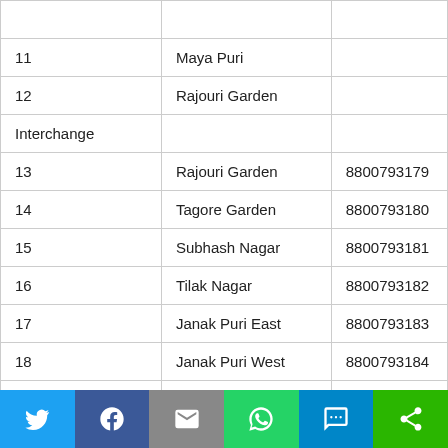|  |  |  |
| --- | --- | --- |
| 11 | Maya Puri |  |
| 12 | Rajouri Garden |  |
| Interchange |  |  |
| 13 | Rajouri Garden | 8800793179 |
| 14 | Tagore Garden | 8800793180 |
| 15 | Subhash Nagar | 8800793181 |
| 16 | Tilak Nagar | 8800793182 |
| 17 | Janak Puri East | 8800793183 |
| 18 | Janak Puri West | 8800793184 |
| 19 | Uttam Nagar East | 8800793185 |
| 20 | Uttam Nagar West | 8800793186 |
[Figure (infographic): Social sharing bar with Twitter, Facebook, Email, WhatsApp, SMS, and Share buttons]